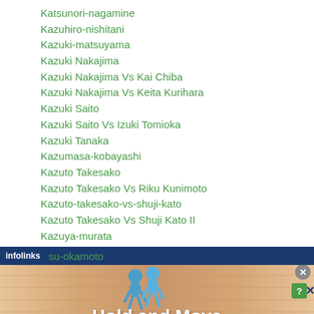Katsunori-nagamine
Kazuhiro-nishitani
Kazuki-matsuyama
Kazuki Nakajima
Kazuki Nakajima Vs Kai Chiba
Kazuki Nakajima Vs Keita Kurihara
Kazuki Saito
Kazuki Saito Vs Izuki Tomioka
Kazuki Tanaka
Kazumasa-kobayashi
Kazuto Takesako
Kazuto Takesako Vs Riku Kunimoto
Kazuto-takesako-vs-shuji-kato
Kazuto Takesako Vs Shuji Kato II
Kazuya-murata
...su-okamoto
[Figure (screenshot): Infolinks advertisement banner showing 'Hold and Move' with two blue figure icons on a wooden background, with close and help buttons]